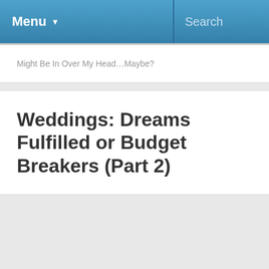Menu ▼   Search
Might Be In Over My Head…Maybe?
Weddings: Dreams Fulfilled or Budget Breakers (Part 2)